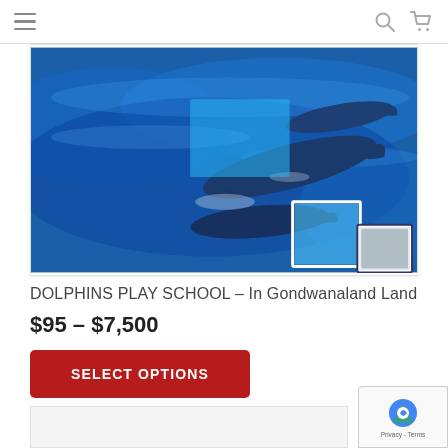Navigation bar with hamburger menu, search and cart icons
[Figure (photo): Product image of dolphins swimming in blue ocean water - DOLPHINS PLAY SCHOOL artwork. Shows dolphins with light blue square overlay elements and a smaller thumbnail in lower right.]
DOLPHINS PLAY SCHOOL – In Gondwanaland Land
$95 – $7,500
SELECT OPTIONS